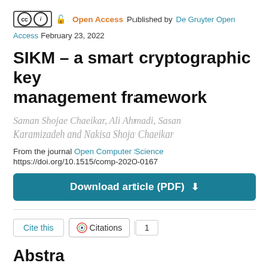Open Access  Published by De Gruyter Open Access  February 23, 2022
SIKM – a smart cryptographic key management framework
Saman Shojae Chaeikar, Ali Ahmadi, Sasan Karamizadeh and Nakisa Shoja Chaeikar
From the journal Open Computer Science
https://doi.org/10.1515/comp-2020-0167
Download article (PDF) ↓
Cite this  Citations  1
Abstract